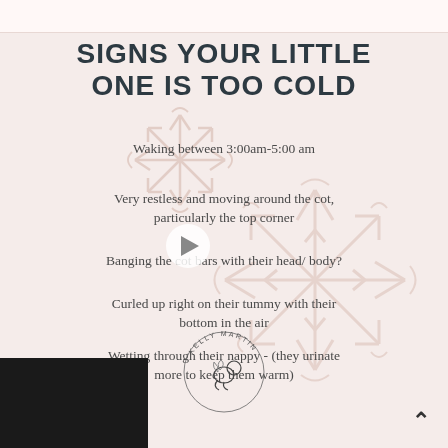SIGNS YOUR LITTLE ONE IS TOO COLD
Waking between 3:00am-5:00 am
Very restless and moving around the cot, particularly the top corner
Banging the cot bars with their head/ body?
Curled up right on their tummy with their bottom in the air
Wetting through their nappy - (they urinate more to keep them warm)
[Figure (logo): Kelly Martin sleeping baby logo with circular text]
[Figure (illustration): Decorative snowflake watermark design in beige/pink tones]